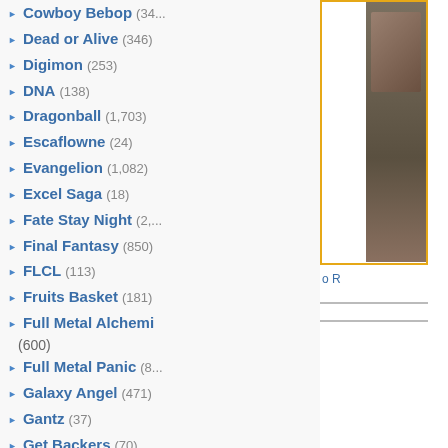Cowboy Bebop (34...)
Dead or Alive (346)
Digimon (253)
DNA (138)
Dragonball (1,703)
Escaflowne (24)
Evangelion (1,082)
Excel Saga (18)
Fate Stay Night (2,...)
Final Fantasy (850)
FLCL (113)
Fruits Basket (181)
Full Metal Alchemi... (600)
Full Metal Panic (8...)
Galaxy Angel (471)
Gantz (37)
Get Backers (70)
Ghost in the Shell
Gundam Seed (297...)
Gundam Wing (285...)
Gunslinger Girl (59...)
Hack Sign (78)
Haibane Renmei (...)
Hamtaro (50)
Hello Kitty (299)
Hellsing (339)
Howls Moving Cas... (60)
Hyper Police (9)
[Figure (photo): Photo visible in upper right corner of page, partially cropped]
o R